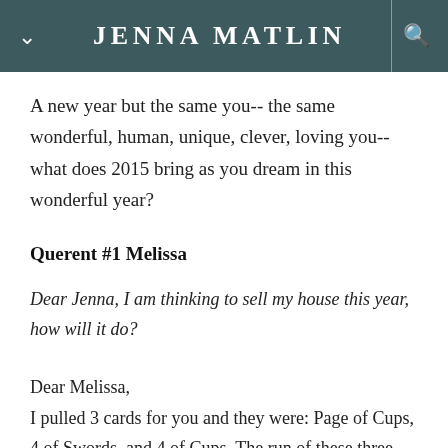JENNA MATLIN
A new year but the same you-- the same wonderful, human, unique, clever, loving you-- what does 2015 bring as you dream in this wonderful year?
Querent #1 Melissa
Dear Jenna, I am thinking to sell my house this year, how will it do?
Dear Melissa,
I pulled 3 cards for you and they were: Page of Cups, 4 of Swords, and 4 of Cups. The run of these three cards is